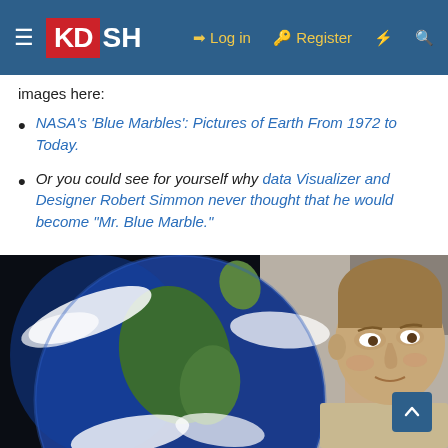KDSH — Log in | Register
images here:
NASA's 'Blue Marbles': Pictures of Earth From 1972 to Today.
Or you could see for yourself why data Visualizer and Designer Robert Simmon never thought that he would become "Mr. Blue Marble."
[Figure (photo): Photo of Robert Simmon standing in front of a large print of the NASA Blue Marble image of Earth, showing the globe with North America visible and cloud patterns, with Simmon's face visible on the right side of the frame.]